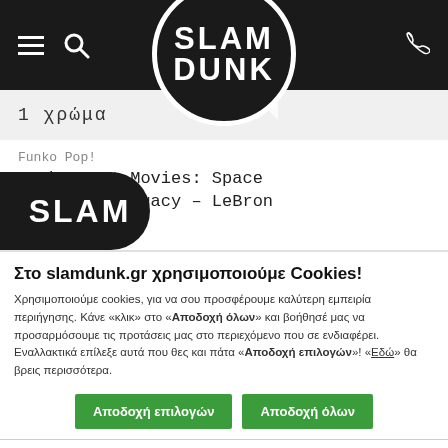[Figure (screenshot): Slam Dunk website header with black navigation bar showing hamburger menu icon, search icon, Slam Dunk circular logo, and phone icon]
1  χρώμα
Funko Pop!
Funko Pop! Movies: Space Jam A New Legacy – LeBron Φιγούρα
Στο slamdunk.gr χρησιμοποιούμε Cookies!
Χρησιμοποιούμε cookies, για να σου προσφέρουμε καλύτερη εμπειρία περιήγησης. Κάνε «κλικ» στο «Αποδοχή όλων» και βοήθησέ μας να προσαρμόσουμε τις προτάσεις μας στο περιεχόμενο που σε ενδιαφέρει. Εναλλακτικά επίλεξε αυτά που θες και πάτα «Αποδοχή επιλογών»! «Εδώ» θα βρεις περισσότερα.
Αποδοχή επιλογών
Αποδοχή όλων
✓ Αναγκαία   □ Προτιμήσεις   □ Στατιστικά   □ Εμπορικής προώθησης   Προβολή λεπτομερειών